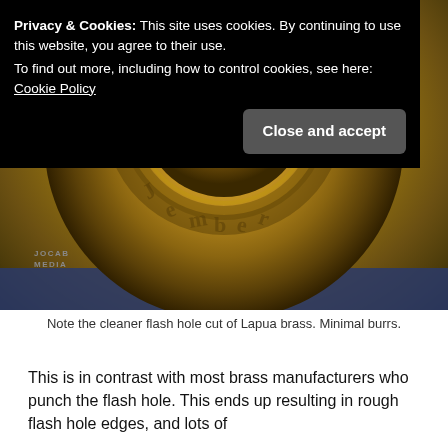[Figure (photo): Close-up macro photograph of the base/head of a brass cartridge case showing the headstamp markings around the rim, with the primer in the center. The brass has a gold/yellow color. A JOCAB MEDIA watermark logo appears in the bottom-left corner of the photo.]
Note the cleaner flash hole cut of Lapua brass. Minimal burrs.
This is in contrast with most brass manufacturers who punch the flash hole. This ends up resulting in rough flash hole edges, and lots of